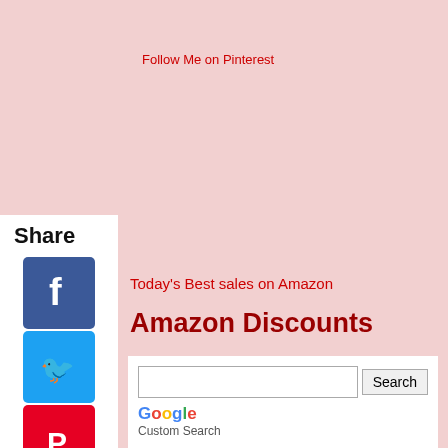[Figure (other): Follow Me on Pinterest broken image link placeholder text]
Share
[Figure (other): Facebook share button icon - blue square with white F]
[Figure (other): Twitter share button icon - blue square with white bird]
[Figure (other): Pinterest share button icon - red square with white P]
[Figure (other): Tumblr share button icon - dark blue square with white t]
[Figure (other): Reddit share button icon - orange square with white alien mascot]
[Figure (other): WhatsApp share button icon - green square with phone/chat icon]
Today's Best sales on Amazon
Amazon Discounts
Search | Google Custom Search
Support this site: Buy Lakshmi's Books